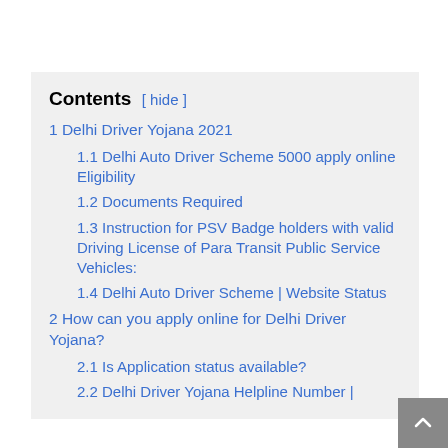Contents [ hide ]
1 Delhi Driver Yojana 2021
1.1 Delhi Auto Driver Scheme 5000 apply online Eligibility
1.2 Documents Required
1.3 Instruction for PSV Badge holders with valid Driving License of Para Transit Public Service Vehicles:
1.4 Delhi Auto Driver Scheme | Website Status
2 How can you apply online for Delhi Driver Yojana?
2.1 Is Application status available?
2.2 Delhi Driver Yojana Helpline Number |